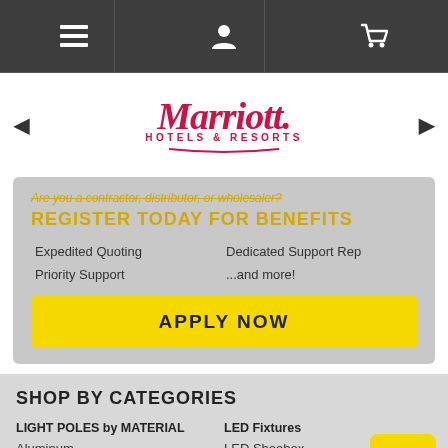Navigation bar with menu, user, and cart icons
[Figure (logo): Marriott Hotels & Resorts logo in red/crimson italic serif font with decorative underline arc]
Are you a contractor, distributor, or wholesaler?
REGISTER TODAY FOR BENEFITS
Expedited Quoting
Dedicated Support Rep
Priority Support
...and more!
APPLY NOW
SHOP BY CATEGORIES
LIGHT POLES by MATERIAL
LED Fixtures
Aluminum
LED Shoebox